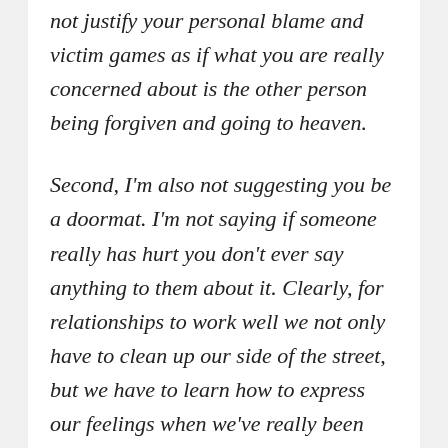not justify your personal blame and victim games as if what you are really concerned about is the other person being forgiven and going to heaven.
Second, I'm also not suggesting you be a doormat. I'm not saying if someone really has hurt you don't ever say anything to them about it. Clearly, for relationships to work well we not only have to clean up our side of the street, but we have to learn how to express our feelings when we've really been hurt so we won't harbor